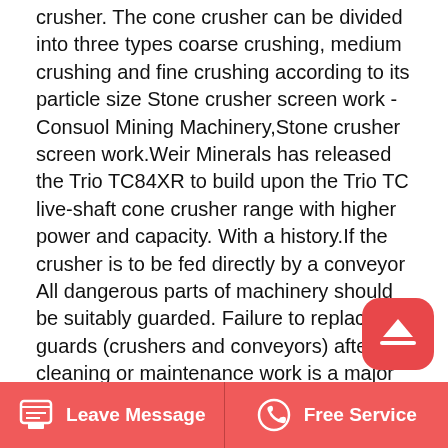crusher. The cone crusher can be divided into three types coarse crushing, medium crushing and fine crushing according to its particle size Stone crusher screen work - Consuol Mining Machinery,Stone crusher screen work.Weir Minerals has released the Trio TC84XR to build upon the Trio TC live-shaft cone crusher range with higher power and capacity. With a history.If the crusher is to be fed directly by a conveyor All dangerous parts of machinery should be suitably guarded. Failure to replace guards (crushers and conveyors) after cleaning or maintenance work is a major cause of injury on these machines. Fig. 2 Excavator feeding mobile stone crusher. Blocked crushers Causes.
How Does Mining Equipment Work In
Leave Message   Free Service